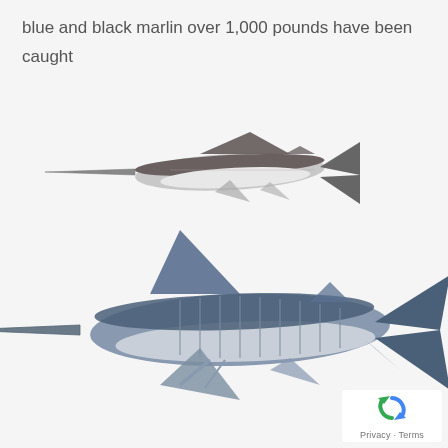blue and black marlin over 1,000 pounds have been caught by sport fishermen.
[Figure (illustration): Two marlin fish illustrations on a white/light gray background. Top fish is a black marlin shown in profile, with dark back, silver-white belly, and a long pointed bill. Bottom fish is a blue marlin, larger, shown in profile with a tall dorsal fin, striped blue-gray coloring, long bill, and deeply forked tail fins.]
Privacy · Terms